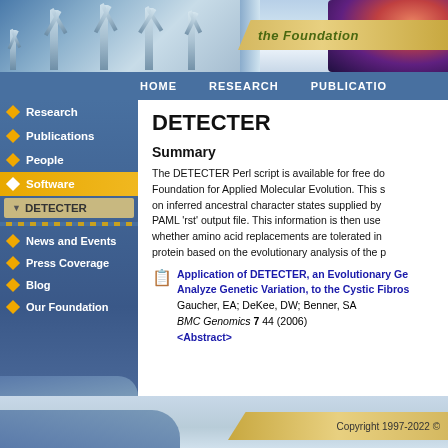[Figure (screenshot): Website header banner with logo figures and nebula image, 'the Foundation' text badge]
HOME   RESEARCH   PUBLICATIONS
Research
Publications
People
Software
DETECTER
News and Events
Press Coverage
Blog
Our Foundation
DETECTER
Summary
The DETECTER Perl script is available for free do... Foundation for Applied Molecular Evolution. This s... on inferred ancestral character states supplied by ... PAML 'rst' output file. This information is then use... whether amino acid replacements are tolerated in ... protein based on the evolutionary analysis of the p...
Application of DETECTER, an Evolutionary Ge... Analyze Genetic Variation, to the Cystic Fibros...
Gaucher, EA; DeKee, DW; Benner, SA
BMC Genomics 7 44 (2006)
<Abstract>
Copyright 1997-2022 ©